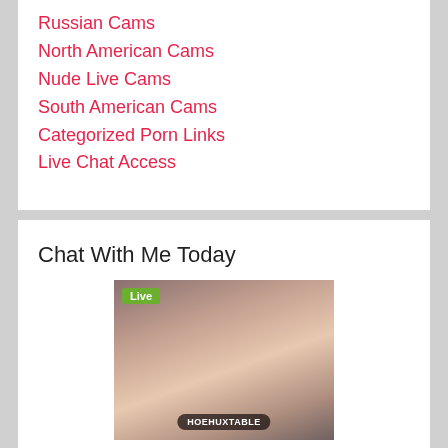Russian Cams
North American Cams
Nude Live Cams
South American Cams
Categorized Porn Links
Live Chat Access
Chat With Me Today
[Figure (photo): Live webcam thumbnail showing a person with a green 'Live' badge and username label 'HOEHUXTABLE' at the bottom]